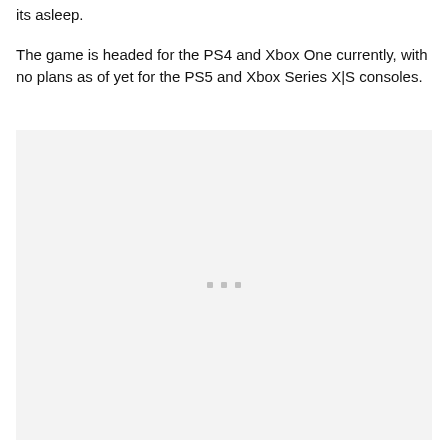its asleep.
The game is headed for the PS4 and Xbox One currently, with no plans as of yet for the PS5 and Xbox Series X|S consoles.
[Figure (other): A light gray placeholder image area with three small gray squares centered near the bottom, representing an embedded media or advertisement placeholder.]